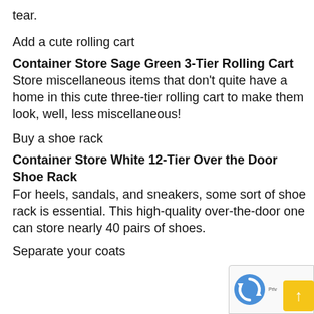tear.
Add a cute rolling cart
Container Store Sage Green 3-Tier Rolling Cart
Store miscellaneous items that don't quite have a home in this cute three-tier rolling cart to make them look, well, less miscellaneous!
Buy a shoe rack
Container Store White 12-Tier Over the Door Shoe Rack
For heels, sandals, and sneakers, some sort of shoe rack is essential. This high-quality over-the-door one can store nearly 40 pairs of shoes.
Separate your coats